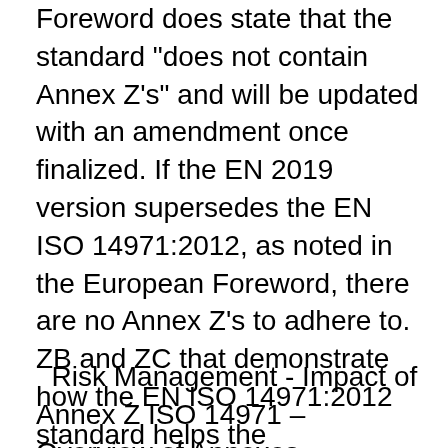Foreword does state that the standard "does not contain Annex Z's" and will be updated with an amendment once finalized. If the EN 2019 version supersedes the EN ISO 14971:2012, as noted in the European Foreword, there are no Annex Z's to adhere to. ZB and ZC that demonstrate how the EN ISO 14971:2012 standard helps the manufacturer comply with the three European Directives for medical devices: Medical Devices Directive 93/42/EEC (by Annex ZA) Active Implantable Medical Device Directive 90/385/EEC (by Annex ZB) Se hela listan på sis.se Europastandarden EN ISO 14971:2019 gäller som svensk standard.
Risk Management - Impact of Annex Z ISO 14971 – Overview of Annexes probability . 14 Aug 2013 European National (EN) version identifies seven